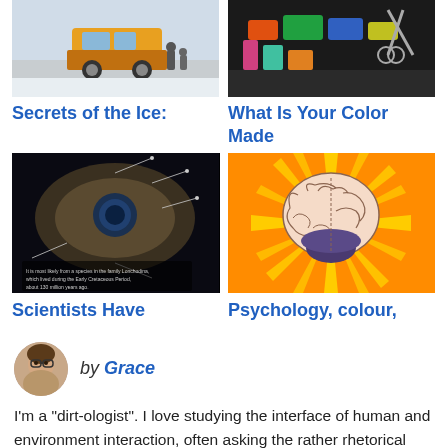[Figure (photo): Top-left card image: yellow truck/vehicle in snowy scene with people]
Secrets of the Ice:
[Figure (photo): Top-right card image: colorful objects on dark background with scissors]
What Is Your Color Made
[Figure (photo): Bottom-left card image: dark scientific diagram of fish cross-section with text about Early Cretaceous Period 130 million years ago]
Scientists Have
[Figure (illustration): Bottom-right card image: illustrated brain on orange/yellow sunburst background]
Psychology, colour,
[Figure (photo): Author avatar: circular portrait photo of Grace]
by Grace
I'm a "dirt-ologist". I love studying the interface of human and environment interaction, often asking the rather rhetorical question: "Do we change the landscape, or does the